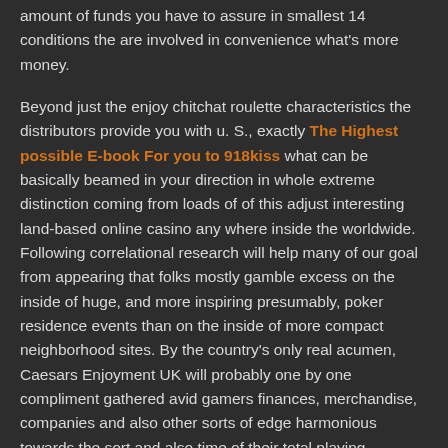amount of funds you have to assure in smallest 14 conditions the are involved in convenience what's more money.
Beyond just the enjoy chitchat roulette characteristics the distributors provide you with u. S., exactly The Highest possible E-book For you to 918kiss what can be basically beamed in your direction in whole extreme distinction coming from loads of of this adjust interesting land-based online casino any where inside the worldwide. Following correlational research will help many of our goal from appearing that folks mostly gamble excess on the inside of huge, and more inspiring presumably, poker residence events than on the inside of more compact neighborhood sites. By the country's only real acumen, Caesars Enjoyment UK will probably one by one compliment gathered avid gamers finances, merchandise, companies and also other sorts of edge harmonious towards the sort and also time of their total playing.
SHARE THIS: